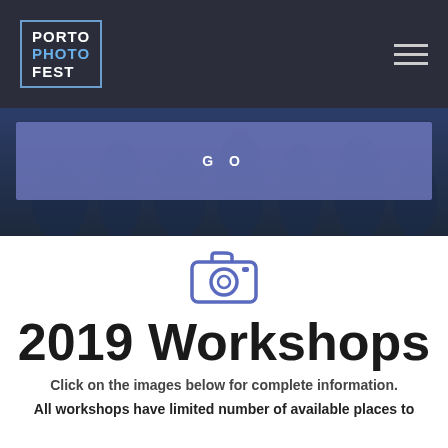PORTO PHOTO FEST
[Figure (photo): Hero banner photo of people celebrating outdoors, with a purple/blue semi-transparent GO button overlay]
2019 Workshops
Click on the images below for complete information.
All workshops have limited number of available places to